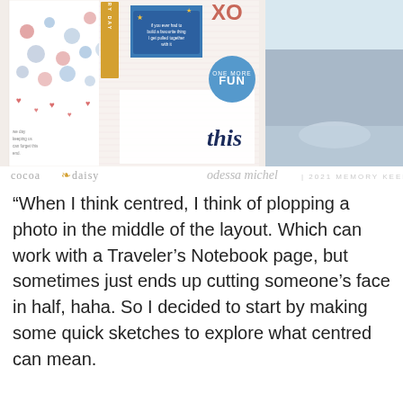[Figure (photo): A scrapbook layout photo showing a Traveler's Notebook page with colorful embellishments, stickers, circles, banners, cards, and a winter photo on the right. Branded with 'cocoa daisy' and 'odessa michel | 2021 MEMORY KEEPER'.]
“When I think centred, I think of plopping a photo in the middle of the layout. Which can work with a Traveler’s Notebook page, but sometimes just ends up cutting someone’s face in half, haha. So I decided to start by making some quick sketches to explore what centred can mean.